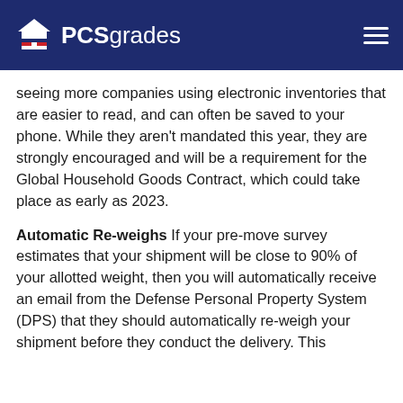PCSgrades
seeing more companies using electronic inventories that are easier to read, and can often be saved to your phone. While they aren't mandated this year, they are strongly encouraged and will be a requirement for the Global Household Goods Contract, which could take place as early as 2023.
Automatic Re-weighs If your pre-move survey estimates that your shipment will be close to 90% of your allotted weight, then you will automatically receive an email from the Defense Personal Property System (DPS) that they should automatically re-weigh your shipment before they conduct the delivery. This